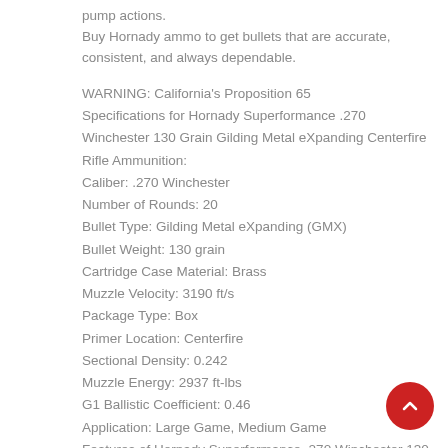pump actions.
Buy Hornady ammo to get bullets that are accurate, consistent, and always dependable.
WARNING: California's Proposition 65
Specifications for Hornady Superformance .270 Winchester 130 Grain Gilding Metal eXpanding Centerfire Rifle Ammunition:
Caliber: .270 Winchester
Number of Rounds: 20
Bullet Type: Gilding Metal eXpanding (GMX)
Bullet Weight: 130 grain
Cartridge Case Material: Brass
Muzzle Velocity: 3190 ft/s
Package Type: Box
Primer Location: Centerfire
Sectional Density: 0.242
Muzzle Energy: 2937 ft-lbs
G1 Ballistic Coefficient: 0.46
Application: Large Game, Medium Game
Features of Hornady Superformance .270 Winchester 130 Grain Gilding Metal eXpanding Centerfire Rifle Ammunition:
Proven Hornady Bullets: Superformance ammunition is